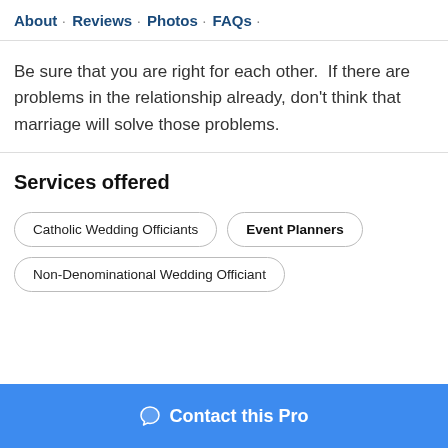About · Reviews · Photos · FAQs ·
Be sure that you are right for each other.  If there are problems in the relationship already, don't think that marriage will solve those problems.
Services offered
Catholic Wedding Officiants
Event Planners
Non-Denominational Wedding Officiant
Contact this Pro